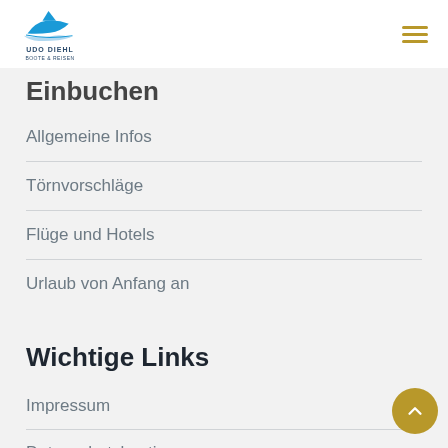Udo Diehl Boote & Reisen logo and navigation
Einbuchen
Allgemeine Infos
Törnvorschläge
Flüge und Hotels
Urlaub von Anfang an
Wichtige Links
Impressum
Datenschutzbestimmung